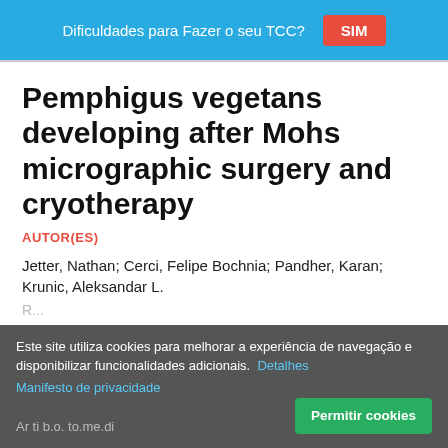Dificuldades para Fazer o seu TCC? SIM
Pemphigus vegetans developing after Mohs micrographic surgery and cryotherapy
AUTOR(ES)
Jetter, Nathan; Cerci, Felipe Bochnia; Pandher, Karan; Krunic, Aleksandar L.
Este site utiliza cookies para melhorar a experiência de navegação e disponibilizar funcionalidades adicionais. Detalhes
Manifesto de privacidade
Permitir cookies